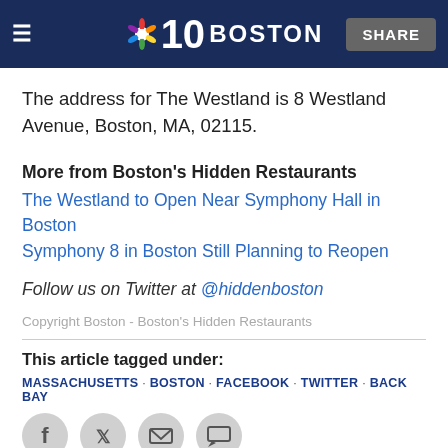NBC 10 BOSTON | SHARE
The address for The Westland is 8 Westland Avenue, Boston, MA, 02115.
More from Boston's Hidden Restaurants
The Westland to Open Near Symphony Hall in Boston
Symphony 8 in Boston Still Planning to Reopen
Follow us on Twitter at @hiddenboston
Copyright Boston - Boston's Hidden Restaurants
This article tagged under:
MASSACHUSETTS · BOSTON · FACEBOOK · TWITTER · BACK BAY